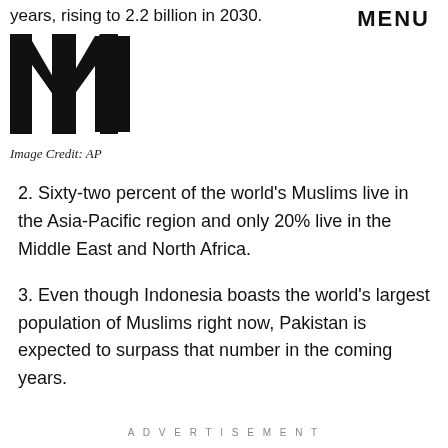years, rising to 2.2 billion in 2030.
MENU
[Figure (logo): MIC logo in bold black block letters]
Image Credit: AP
2. Sixty-two percent of the world's Muslims live in the Asia-Pacific region and only 20% live in the Middle East and North Africa.
3. Even though Indonesia boasts the world's largest population of Muslims right now, Pakistan is expected to surpass that number in the coming years.
ADVERTISEMENT